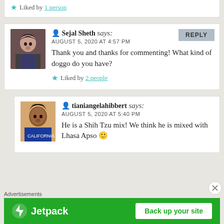Liked by 1 person
Sejal Sheth says: AUGUST 5, 2020 AT 4:57 PM Thank you and thanks for commenting! What kind of doggo do you have?
Liked by 2 people
tianiangelahibbert says: AUGUST 5, 2020 AT 5:40 PM He is a Shih Tzu mix! We think he is mixed with Lhasa Apso 🙂
Advertisements
[Figure (logo): Jetpack advertisement banner with green background, Jetpack logo on left and 'Back up your site' button on right]